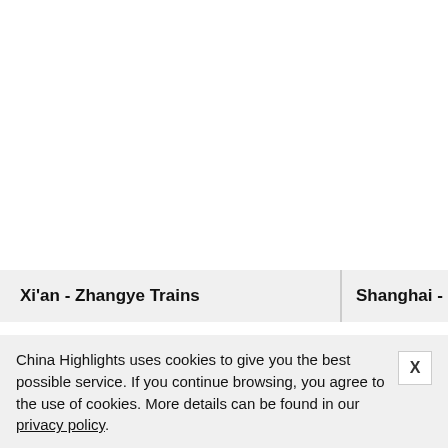Xi'an - Zhangye Trains
Shanghai - Zh…
China Highlights uses cookies to give you the best possible service. If you continue browsing, you agree to the use of cookies. More details can be found in our privacy policy.